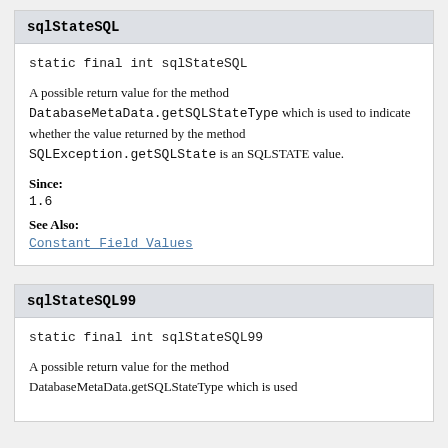sqlStateSQL
static final int sqlStateSQL
A possible return value for the method DatabaseMetaData.getSQLStateType which is used to indicate whether the value returned by the method SQLException.getSQLState is an SQLSTATE value.
Since:
1.6
See Also:
Constant Field Values
sqlStateSQL99
static final int sqlStateSQL99
A possible return value for the method DatabaseMetaData.getSQLStateType which is used